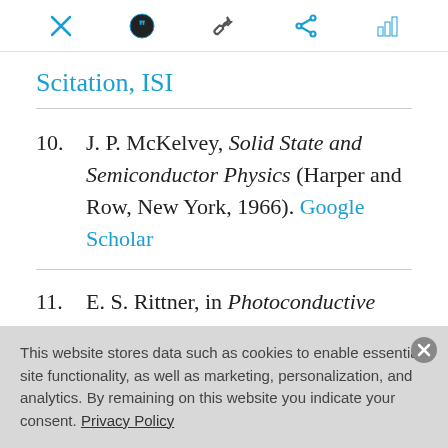[Figure (screenshot): Toolbar with icons: close (X), quote/citation, wrench/settings, share, bar chart — in light blue/cyan color]
Scitation, ISI
10. J. P. McKelvey, Solid State and Semiconductor Physics (Harper and Row, New York, 1966). Google Scholar
11. E. S. Rittner, in Photoconductive
This website stores data such as cookies to enable essential site functionality, as well as marketing, personalization, and analytics. By remaining on this website you indicate your consent. Privacy Policy